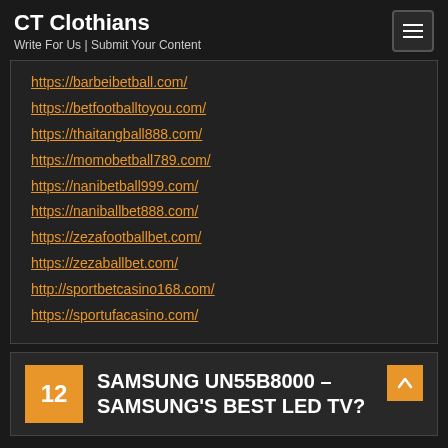CT Clothians
Write For Us | Submit Your Content
https://barbeibetball.com/
https://betfootballtoyou.com/
https://thaitangball888.com/
https://momobetball789.com/
https://nanibetball999.com/
https://naniballbet888.com/
https://zezafootballbet.com/
https://zezaballbet.com/
http://sportbetcasino168.com/
https://sportufacasino.com/
12 SAMSUNG UN55B8000 – SAMSUNG'S BEST LED TV?